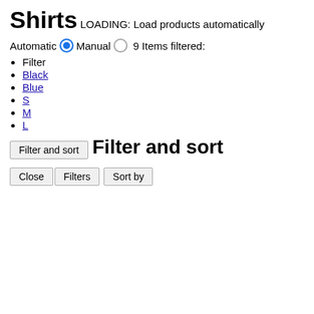Shirts
LOADING:
Load products automatically
Automatic  ● Manual  ○
9 Items filtered:
Filter
Black
Blue
S
M
L
Filter and sort
Filter and sort
Close   Filters
Sort by